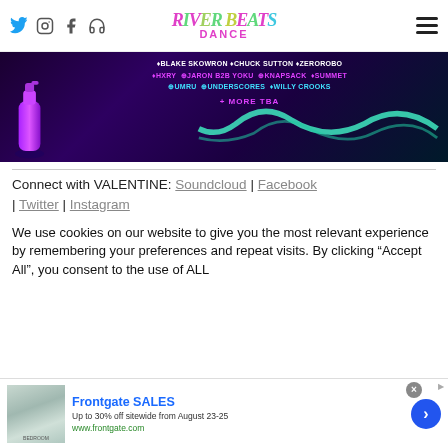River Beats Dance — social icons and hamburger menu
[Figure (photo): Dark purple/teal event flyer with spray can and neon wave, listing DJ names: BLAKE SKOWRON, CHUCK SUTTON, ZEROROBO, HXRY, JARON B2B YOKU, KNAPSACK, SUMMET, UMRU, UNDERSCORES, WILLY CROOKS, + MORE TBA]
Connect with VALENTINE: Soundcloud | Facebook | Twitter | Instagram
We use cookies on our website to give you the most relevant experience by remembering your preferences and repeat visits. By clicking "Accept All", you consent to the use of ALL
[Figure (photo): Frontgate SALES advertisement — Up to 30% off sitewide from August 23-25, www.frontgate.com, with bedroom furniture image]